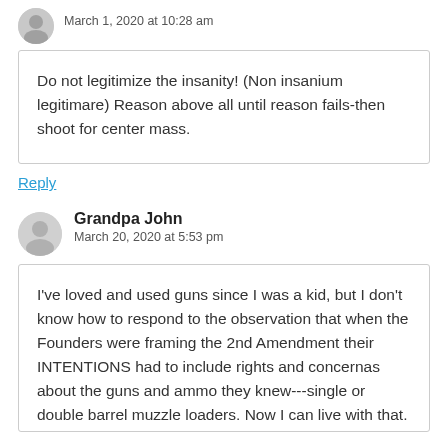March 1, 2020 at 10:28 am
Do not legitimize the insanity! (Non insanium legitimare) Reason above all until reason fails-then shoot for center mass.
Reply
Grandpa John
March 20, 2020 at 5:53 pm
I've loved and used guns since I was a kid, but I don't know how to respond to the observation that when the Founders were framing the 2nd Amendment their INTENTIONS had to include rights and concernas about the guns and ammo they knew---single or double barrel muzzle loaders. Now I can live with that.